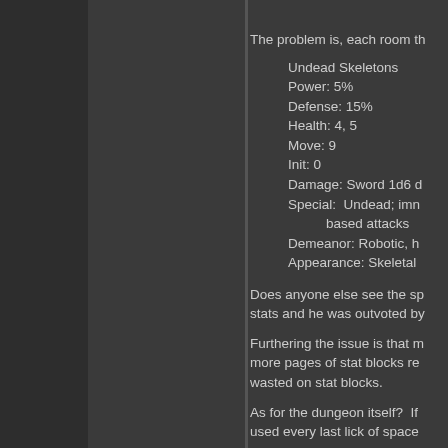The problem is, each room th
Undead Skeletons
Power: 5%
Defense: 15%
Health: 4, 5
Move: 9
Init: 0
Damage: Sword 1d6 d
Special:  Undead; imn
based attacks
Demeanor: Robotic, h
Appearance: Skeletal
Does anyone else see the sp stats and he was outvoted by
Furthering the issue is that m more pages of stat blocks re wasted on stat blocks.
As for the dungeon itself?  If used every last lick of space